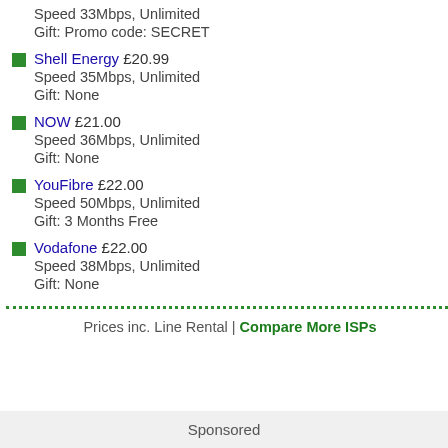Speed 33Mbps, Unlimited
Gift: Promo code: SECRET
Shell Energy £20.99
Speed 35Mbps, Unlimited
Gift: None
NOW £21.00
Speed 36Mbps, Unlimited
Gift: None
YouFibre £22.00
Speed 50Mbps, Unlimited
Gift: 3 Months Free
Vodafone £22.00
Speed 38Mbps, Unlimited
Gift: None
Prices inc. Line Rental | Compare More ISPs
Sponsored